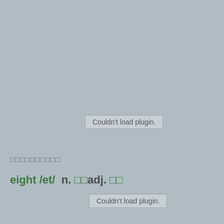[Figure (other): Plugin placeholder box reading 'Couldn't load plugin.' at top area]
□□□□□□□□□□
eight /et/  n. □□adj. □□
[Figure (other): Plugin placeholder box reading 'Couldn't load plugin.' at bottom area]